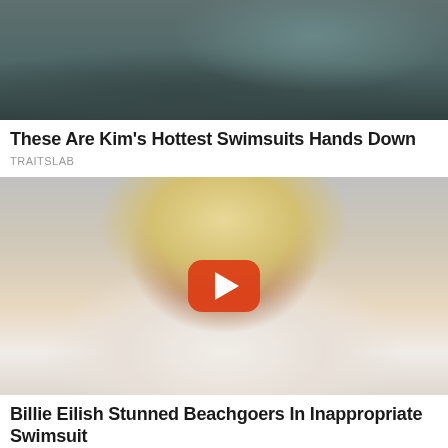[Figure (photo): Cropped photo of a woman in a dark teal/grey bikini, lying down, showing torso area]
These Are Kim's Hottest Swimsuits Hands Down
TRAITSLAB
[Figure (photo): Photo of a blonde woman (Billie Eilish) wearing a white outfit, with a YouTube play button overlay centered on the image]
Billie Eilish Stunned Beachgoers In Inappropriate Swimsuit
TRAITSLAB